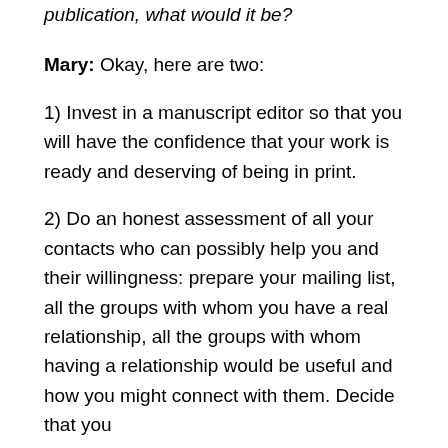publication, what would it be?
Mary: Okay, here are two:
1) Invest in a manuscript editor so that you will have the confidence that your work is ready and deserving of being in print.
2) Do an honest assessment of all your contacts who can possibly help you and their willingness: prepare your mailing list, all the groups with whom you have a real relationship, all the groups with whom having a relationship would be useful and how you might connect with them. Decide that you